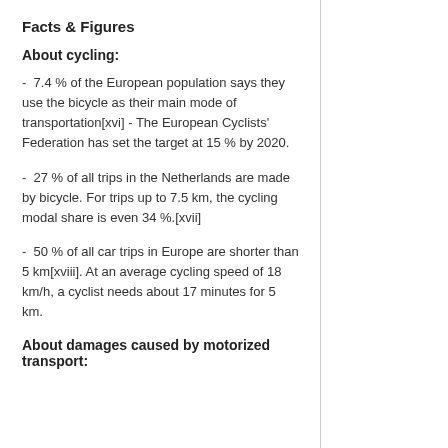Facts & Figures
About cycling:
-  7.4 % of the European population says they use the bicycle as their main mode of transportation[xvi] - The European Cyclists' Federation has set the target at 15 % by 2020.
-  27 % of all trips in the Netherlands are made by bicycle. For trips up to 7.5 km, the cycling modal share is even 34 %.[xvii]
-  50 % of all car trips in Europe are shorter than 5 km[xviii]. At an average cycling speed of 18 km/h, a cyclist needs about 17 minutes for 5 km.
About damages caused by motorized transport: